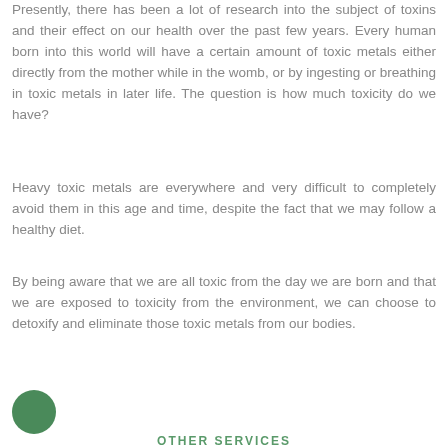Presently, there has been a lot of research into the subject of toxins and their effect on our health over the past few years. Every human born into this world will have a certain amount of toxic metals either directly from the mother while in the womb, or by ingesting or breathing in toxic metals in later life. The question is how much toxicity do we have?
Heavy toxic metals are everywhere and very difficult to completely avoid them in this age and time, despite the fact that we may follow a healthy diet.
By being aware that we are all toxic from the day we are born and that we are exposed to toxicity from the environment, we can choose to detoxify and eliminate those toxic metals from our bodies.
[Figure (illustration): A solid dark green circle used as a decorative bullet or icon element]
OTHER SERVICES